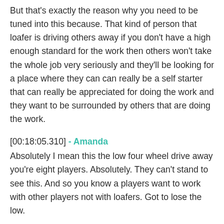But that's exactly the reason why you need to be tuned into this because. That kind of person that loafer is driving others away if you don't have a high enough standard for the work then others won't take the whole job very seriously and they'll be looking for a place where they can can really be a self starter that can really be appreciated for doing the work and they want to be surrounded by others that are doing the work.
[00:18:05.310] - Amanda
Absolutely I mean this the low four wheel drive away you're eight players. Absolutely. They can't stand to see this. And so you know a players want to work with other players not with loafers. Got to lose the low.